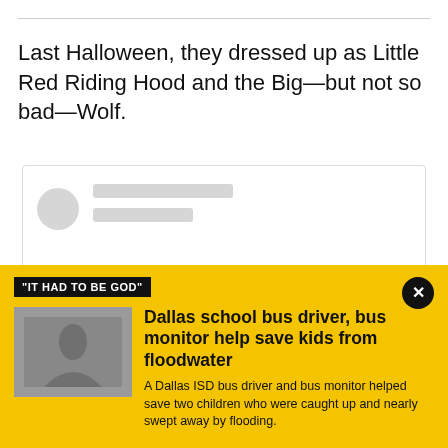Last Halloween, they dressed up as Little Red Riding Hood and the Big—but not so bad—Wolf.
[Figure (screenshot): Social media card placeholder with grey avatar circle and two grey loading bars]
"IT HAD TO BE GOD"
Dallas school bus driver, bus monitor help save kids from floodwater
A Dallas ISD bus driver and bus monitor helped save two children who were caught up and nearly swept away by flooding.